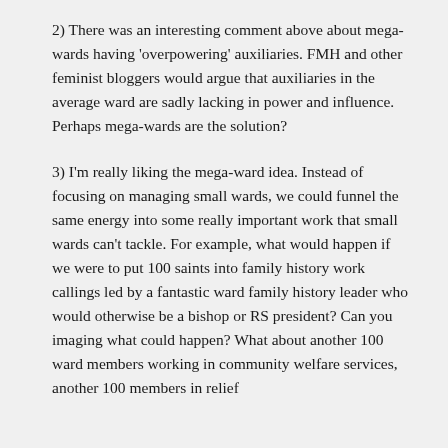2) There was an interesting comment above about mega-wards having 'overpowering' auxiliaries. FMH and other feminist bloggers would argue that auxiliaries in the average ward are sadly lacking in power and influence. Perhaps mega-wards are the solution?
3) I'm really liking the mega-ward idea. Instead of focusing on managing small wards, we could funnel the same energy into some really important work that small wards can't tackle. For example, what would happen if we were to put 100 saints into family history work callings led by a fantastic ward family history leader who would otherwise be a bishop or RS president? Can you imaging what could happen? What about another 100 ward members working in community welfare services, another 100 members in relief